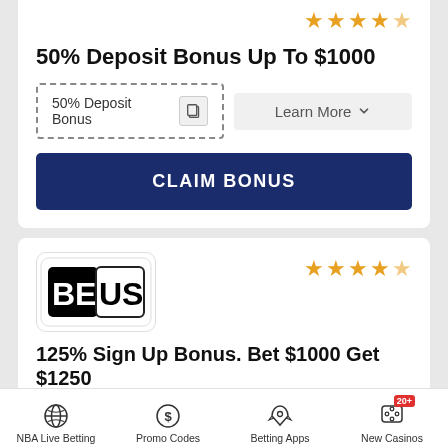[Figure (other): Star rating: 4.5 stars in orange]
50% Deposit Bonus Up To $1000
50% Deposit Bonus [promo code field with copy icon]
Learn More
CLAIM BONUS
[Figure (logo): BetUS logo - black and white text logo]
[Figure (other): Star rating: 4.5 stars in orange]
125% Sign Up Bonus. Bet $1000 Get $1250 Free
NBA Live Betting
Promo Codes
Betting Apps
New Casinos